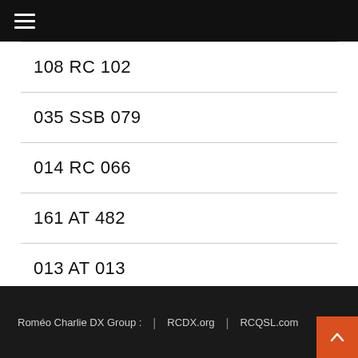☰
108 RC 102
035 SSB 079
014 RC 066
161 AT 482
013 AT 013
Roméo Charlie DX Group :  |  RCDX.org  |  RCQSL.com